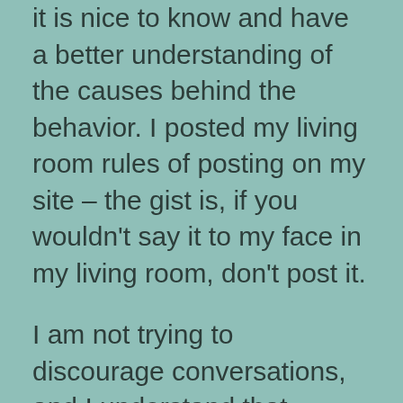it is nice to know and have a better understanding of the causes behind the behavior. I posted my living room rules of posting on my site – the gist is, if you wouldn't say it to my face in my living room, don't post it.
I am not trying to discourage conversations, and I understand that people can become angry or can be sensitive to issues, but that does not excuse derogatory or abusive comments.
In my posts and comments, I try to build up, even with ideas I disagree with. I wrote a post